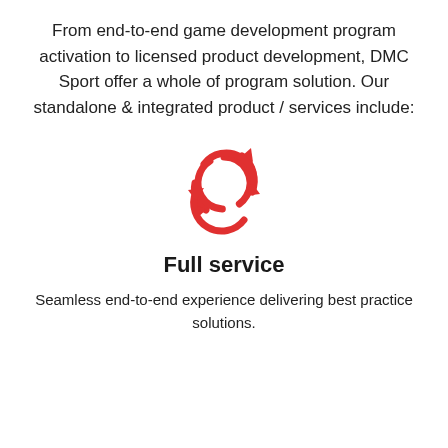From end-to-end game development program activation to licensed product development, DMC Sport offer a whole of program solution. Our standalone & integrated product / services include:
[Figure (illustration): A red circular recycling/refresh arrow icon indicating a full-service cycle.]
Full service
Seamless end-to-end experience delivering best practice solutions.